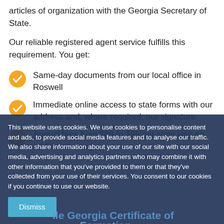articles of organization with the Georgia Secretary of State.
Our reliable registered agent service fulfills this requirement. You get:
Same-day documents from our local office in Roswell
Immediate online access to state forms with our address and, where required, our signature
Annual fees from $89 to $99 per state with no additional charges
This website uses cookies. We use cookies to personalise content and ads, to provide social media features and to analyse our traffic. We also share information about your use of our site with our social media, advertising and analytics partners who may combine it with other information that you've provided to them or that they've collected from your use of their services. You consent to our cookies if you continue to use our website.
Dismiss
ile Georgia Certificate of Formation